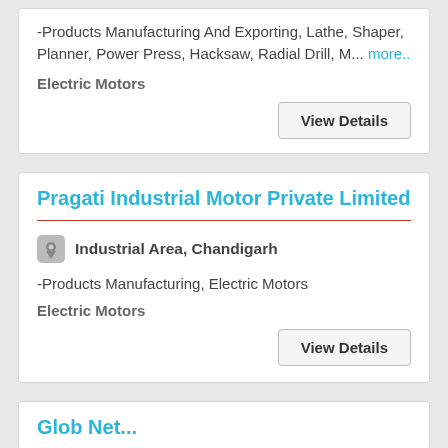-Products Manufacturing And Exporting, Lathe, Shaper, Planner, Power Press, Hacksaw, Radial Drill, M... more..
Electric Motors
View Details
Pragati Industrial Motor Private Limited
Industrial Area, Chandigarh
-Products Manufacturing, Electric Motors
Electric Motors
View Details
Glob Net...